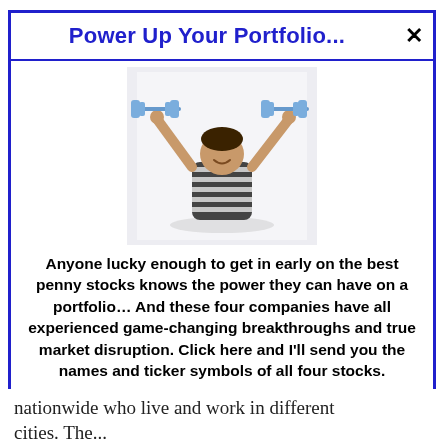Power Up Your Portfolio...
[Figure (photo): Child with arms raised holding illustrated dumbbells overhead, wearing striped shirt, on white background]
Anyone lucky enough to get in early on the best penny stocks knows the power they can have on a portfolio… And these four companies have all experienced game-changing breakthroughs and true market disruption. Click here and I'll send you the names and ticker symbols of all four stocks.
>>> See The List <<<
nationwide who live and work in different cities. They...